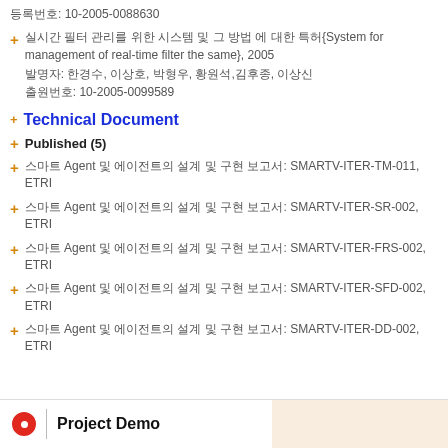등록번호: 10-2005-0088630
실시간 필터 관리를 위한 시스템 및 그 방법 에 대한 특허{System for management of real-time filter the same}, 2005
발명자: 한경수, 이상호, 박형우, 황원석,김후종, 이상신
출원번호: 10-2005-0099589
Technical Document
Published (5)
스마트 Agent 및 에이전트의 설계 및 구현 보고서: SMARTV-ITER-TM-011, ETRI
스마트 Agent 및 에이전트의 설계 및 구현 보고서: SMARTV-ITER-SR-002, ETRI
스마트 Agent 및 에이전트의 설계 및 구현 보고서: SMARTV-ITER-FRS-002, ETRI
스마트 Agent 및 에이전트의 설계 및 구현 보고서: SMARTV-ITER-SFD-002, ETRI
스마트 Agent 및 에이전트의 설계 및 구현 보고서: SMARTV-ITER-DD-002, ETRI
Project Demo